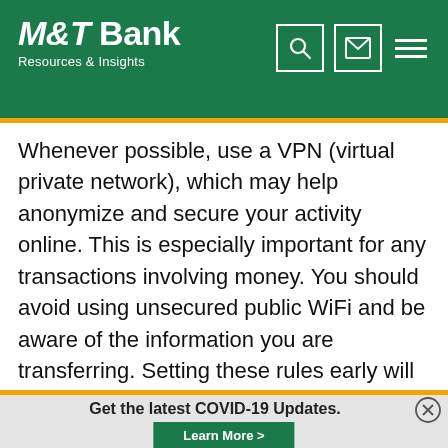M&T Bank Resources & Insights
Whenever possible, use a VPN (virtual private network), which may help anonymize and secure your activity online. This is especially important for any transactions involving money. You should avoid using unsecured public WiFi and be aware of the information you are transferring. Setting these rules early will help your children understand what is safe and what is not. This will be very helpful when your children...
Get the latest COVID-19 Updates.
Learn More >